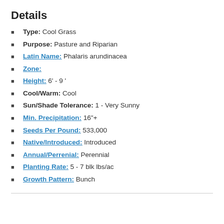Details
Type: Cool Grass
Purpose: Pasture and Riparian
Latin Name: Phalaris arundinacea
Zone:
Height: 6' - 9 '
Cool/Warm: Cool
Sun/Shade Tolerance: 1 - Very Sunny
Min. Precipitation: 16"+
Seeds Per Pound: 533,000
Native/Introduced: Introduced
Annual/Perrenial: Perennial
Planting Rate: 5 - 7 blk lbs/ac
Growth Pattern: Bunch